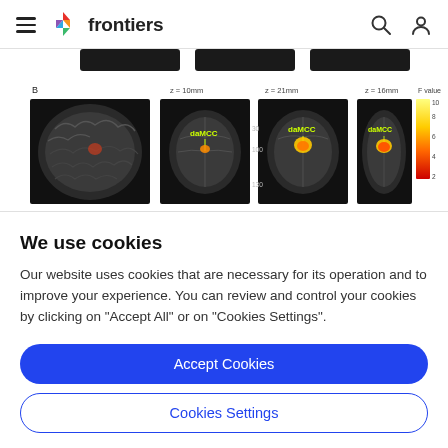frontiers
[Figure (photo): MRI brain scan images panel B showing axial and sagittal brain views with daMCC labels highlighted in yellow/orange, with a color scale bar labeled F value on the right ranging from red to yellow (2-10+)]
We use cookies
Our website uses cookies that are necessary for its operation and to improve your experience. You can review and control your cookies by clicking on "Accept All" or on "Cookies Settings".
Accept Cookies
Cookies Settings